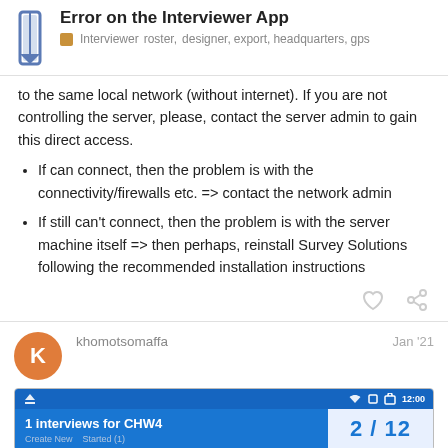Error on the Interviewer App | Interviewer  roster,  designer,  export,  headquarters,  gps
to the same local network (without internet). If you are not controlling the server, please, contact the server admin to gain this direct access.
If can connect, then the problem is with the connectivity/firewalls etc. => contact the network admin
If still can't connect, then the problem is with the server machine itself => then perhaps, reinstall Survey Solutions following the recommended installation instructions
khomotsomaffa  Jan '21
[Figure (screenshot): Mobile app screenshot showing '1 interviews for CHW4' with page indicator '2 / 12']